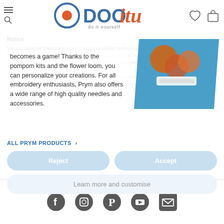DOOitu - do it yourself
We and selected third parties use cookies or similar technologies for technical purposes and, with your consent, for experience enhancement, measurement and targeting & advertising as specified in the cookie policy. Denying consent may make related features unavailable. You can freely give, deny, or withdraw your consent at any time. Use the Accept button to consent to the use of such technologies. Use the Reject button to continue without accepting.
becomes a game! Thanks to the pompom kits and the flower loom, you can personalize your creations. For all embroidery enthusiasts, Prym also offers a wide range of high quality needles and accessories.
ALL PRYM PRODUCTS ›
Reject
Accept
Learn more and customise
Social media icons: Facebook, Instagram, Pinterest, YouTube, Email